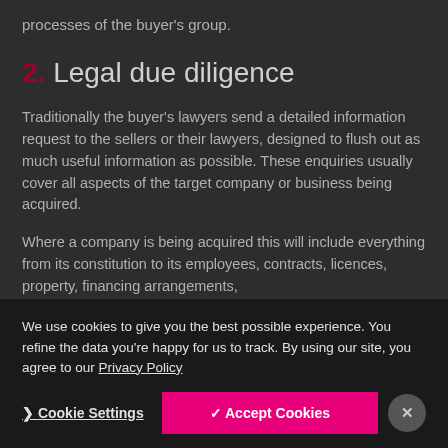processes of the buyer's group.
2. Legal due diligence
Traditionally the buyer's lawyers send a detailed information request to the sellers or their lawyers, designed to flush out as much useful information as possible. These enquiries usually cover all aspects of the target company or business being acquired.
Where a company is being acquired this will include everything from its constitution to its employees, contracts, licences, property, financing arrangements,
We use cookies to give you the best possible experience. You refine the data you're happy for us to track. By using our site, you agree to our Privacy Policy
Cookie Settings
✓ Accept Cookies